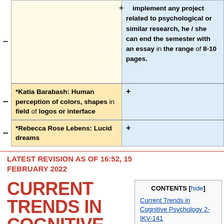| (left) | (right) |
| --- | --- |
| (empty) | implement any project related to psychological or similar research, he / she can end the semester with an essay in the range of 8-10 pages. |
| *Katia Barabash: Human perception of colors, shapes in field of logos or interface | + |
| *Rebecca Rose Lebens: Lucid dreams | + |
LATEST REVISION AS OF 16:52, 15 FEBRUARY 2022
CURRENT TRENDS IN COGNITIVE
CONTENTS [hide]
Current Trends in Cognitive Psychology 2-IKV-141